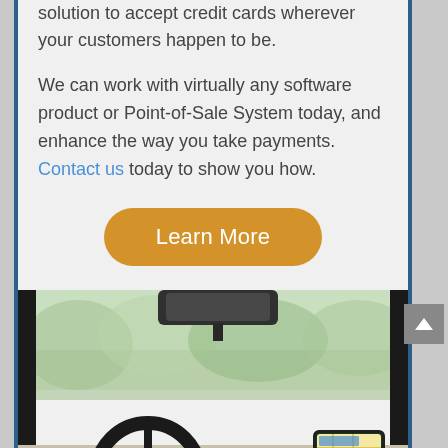solution to accept credit cards wherever your customers happen to be.
We can work with virtually any software product or Point-of-Sale System today, and enhance the way you take payments. Contact us today to show you how.
[Figure (other): Orange rounded button labeled 'Learn More']
[Figure (photo): Photo of a person driving a car, hand on steering wheel, with a smartphone mounted on the dashboard showing a navigation map app. Blurred green trees visible through windshield.]